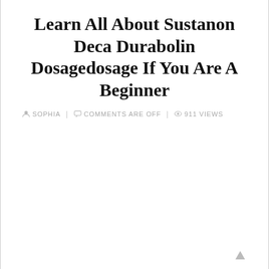Learn All About Sustanon Deca Durabolin Dosagedosage If You Are A Beginner
SOPHIA  |  COMMENTS ARE OFF  |  911 VIEWS
[Figure (other): Empty advertisement area with a scroll-up arrow icon in the bottom right corner]
These days everyone is pretty busy and there is not the time to take proper care of their body.